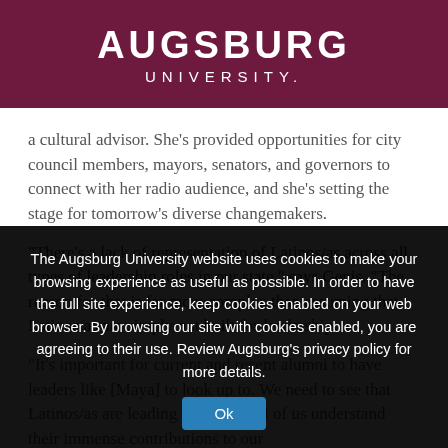AUGSBURG UNIVERSITY
a cultural advisor. She's provided opportunities for city council members, mayors, senators, and governors to connect with her radio audience, and she's setting the stage for tomorrow's diverse changemakers.
“There’s a lack of representation of Latinos/as across all types of leadership roles in our state,” says Genis. “The reason for that is far more complex than assuming that Latinos/as are simply not built for leadership.
“It’s important for current and recent alumni to have leaders like [Maya] to look up to. We need to see that Latinos/as are leading — so that all of us understand their immense contributions to our
The Augsburg University website uses cookies to make your browsing experience as useful as possible. In order to have the full site experience, keep cookies enabled on your web browser. By browsing our site with cookies enabled, you are agreeing to their use. Review Augsburg's privacy policy for more details.